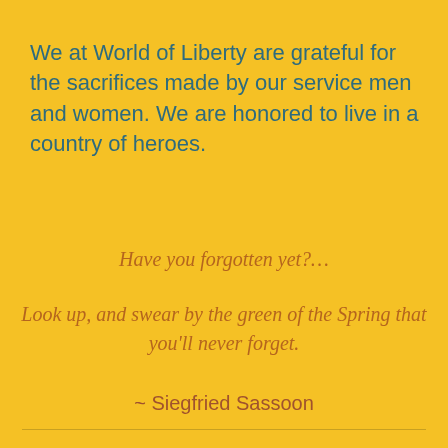We at World of Liberty are grateful for the sacrifices made by our service men and women. We are honored to live in a country of heroes.
Have you forgotten yet?…
Look up, and swear by the green of the Spring that you'll never forget.
~ Siegfried Sassoon